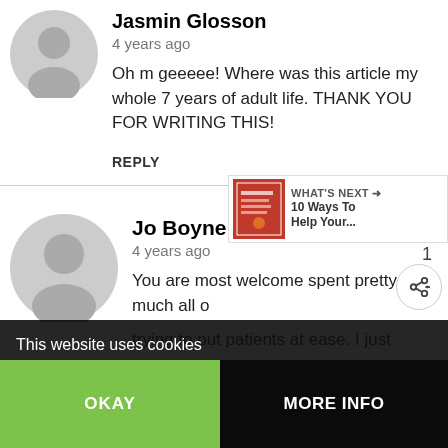Jasmin Glosson
4 years ago
Oh m geeeee! Where was this article my whole 7 years of adult life. THANK YOU FOR WRITING THIS!
REPLY
Jo Boyne
4 years ago
You are most welcome spent pretty much all o trying to put patients at ease. I just
[Figure (infographic): WHAT'S NEXT arrow label with book thumbnail and text '10 Ways To Help Your...']
This website uses cookies
OKAY
MORE INFO